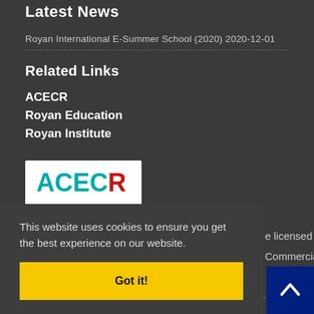Latest News
Royan International E-Summer School (2020) 2020-12-01
Related Links
ACECR
Royan Education
Royan Institute
[Figure (logo): ACECR logo with teal and red lettering on white background]
This website uses cookies to ensure you get the best experience on our website.
Got it!
e licensed Commercial
ive the latest news and updates